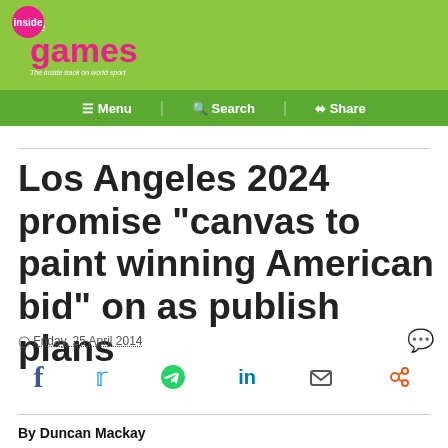inside the games - The inside track on world sport
Menu  Search  Share
Los Angeles 2024 promise "canvas to paint winning American bid" on as publish plans
Friday, 25 April 2014
By Duncan Mackay